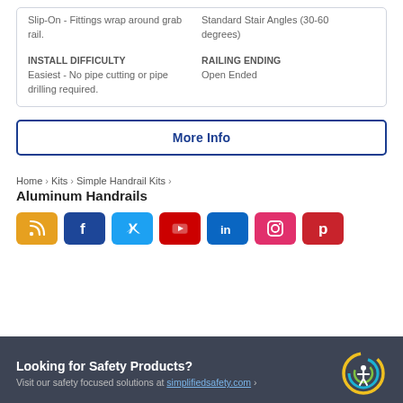Slip-On - Fittings wrap around grab rail.
Standard Stair Angles (30-60 degrees)
INSTALL DIFFICULTY
Easiest - No pipe cutting or pipe drilling required.
RAILING ENDING
Open Ended
More Info
Home > Kits > Simple Handrail Kits >
Aluminum Handrails
[Figure (infographic): Row of social media icon buttons: RSS (orange), Facebook (dark blue), Twitter (light blue), YouTube (red), LinkedIn (blue), Instagram (pink), Pinterest (red)]
Looking for Safety Products? Visit our safety focused solutions at simplifiedsafety.com >